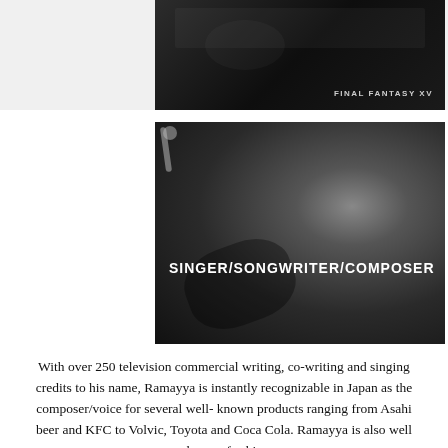[Figure (photo): Dark screenshot or promotional image with 'FINAL FANTASY XV' text visible at lower right, dark background]
[Figure (photo): Black and white photo of a male musician with sunglasses playing acoustic guitar near a microphone, with overlay text 'SINGER/SONGWRITER/COMPOSER']
With over 250 television commercial writing, co-writing and singing credits to his name, Ramayya is instantly recognizable in Japan as the composer/voice for several well-known products ranging from Asahi beer and KFC to Volvic, Toyota and Coca Cola. Ramayya is also well known for his